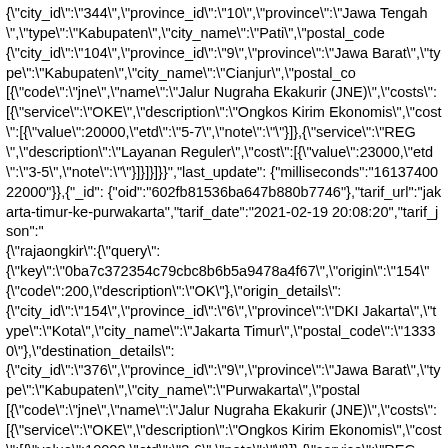{"city_id":"344","province_id":"10","province":"Jawa Tengah","type":"Kabupaten","city_name":"Pati","postal_code {"city_id":"104","province_id":"9","province":"Jawa Barat","type":"Kabupaten","city_name":"Cianjur","postal_co [{"code":"jne","name":"Jalur Nugraha Ekakurir (JNE)","costs":[{"service":"OKE","description":"Ongkos Kirim Ekonomis","cost":[{"value":20000,"etd":"5-7","note":""}]},{"service":"REG","description":"Layanan Reguler","cost":[{"value":23000,"etd":"3-5","note":""}]}]}]}},"last_update": {"milliseconds":"1613740022000"}},{"_id": {"oid":"602fb81536ba647b880b7746"},"tarif_url":"jakarta-timur-ke-purwakarta","tarif_date":"2021-02-19 20:08:20","tarif_json":"{\"rajaongkir\":{\"query\": {\"key\":\"0ba7c372354c79cbc8b6b5a9478a4f67\",\"origin\":\"154\" {"code":200,"description":"OK"},"origin_details": {"city_id":"154","province_id":"6","province":"DKI Jakarta","type":"Kota","city_name":"Jakarta Timur","postal_code":"13330"},"destination_details": {"city_id":"376","province_id":"9","province":"Jawa Barat","type":"Kabupaten","city_name":"Purwakarta","postal [{"code":"jne","name":"Jalur Nugraha Ekakurir (JNE)","costs":[{"service":"OKE","description":"Ongkos Kirim Ekonomis","cost":[{"value":10000,"etd":"3-6","note":""}]},{"service":"REG","description":"Layanan Reguler